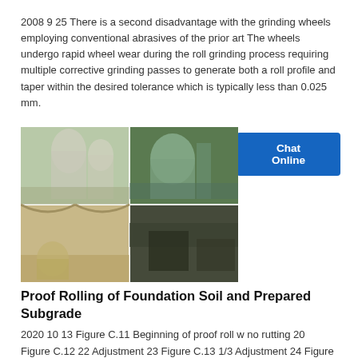2008 9 25 There is a second disadvantage with the grinding wheels employing conventional abrasives of the prior art The wheels undergo rapid wheel wear during the roll grinding process requiring multiple corrective grinding passes to generate both a roll profile and taper within the desired tolerance which is typically less than 0.025 mm.
[Figure (photo): Four industrial facility photos arranged in a 2x2 grid showing grinding/milling equipment and industrial plant interiors]
Proof Rolling of Foundation Soil and Prepared Subgrade
2020 10 13 Figure C.11 Beginning of proof roll w no rutting 20 Figure C.12 22 Adjustment 23 Figure C.13 1/3 Adjustment 24 Figure C.14 No t...